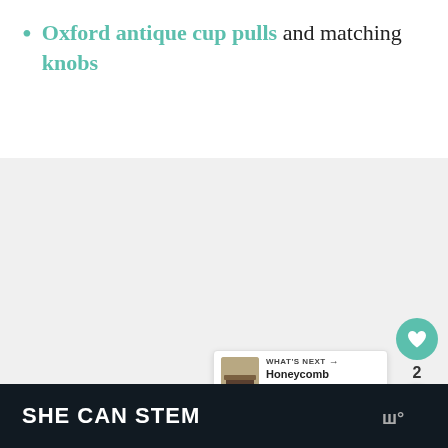Oxford antique cup pulls and matching knobs
[Figure (photo): A large light grey rectangular image area showing a photo (content not fully visible), with a teal circular like button (heart icon), a count of 2, a share button, and a 'What's Next' card showing a thumbnail and text 'Honeycomb Pattern Tabl...']
SHE CAN STEM